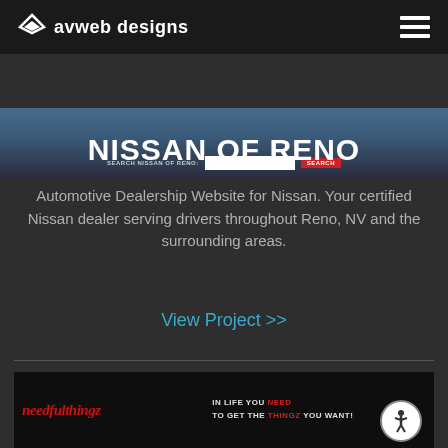avweb designs
[Figure (screenshot): Screenshot of Nissan of Reno website showing top navigation with search bar labeled 'SEARCH NISSAN OF RENO:' with input field and red SEARCH button]
NISSAN OF RENO
Automotive Dealership Website for Nissan. Your certified Nissan dealer serving drivers throughout Reno, NV and the surrounding areas.
View Project >>
[Figure (screenshot): Screenshot of needfullthingz website showing gothic red logo text and slogan: IN LIFE YOU NEED TO GET THE THINGZ YOU WANT! with truck images below]